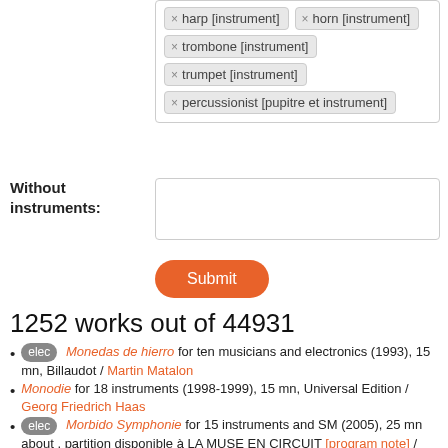[Figure (screenshot): Tag filter area showing instrument tags: harp [instrument], horn [instrument], trombone [instrument], trumpet [instrument], percussionist [pupitre et instrument]]
Without instruments:
[Figure (screenshot): Empty text input field for 'Without instruments']
[Figure (screenshot): Orange Submit button]
1252 works out of 44931
elec Monedas de hierro for ten musicians and electronics (1993), 15 mn, Billaudot / Martin Matalon
Monodie for 18 instruments (1998-1999), 15 mn, Universal Edition / Georg Friedrich Haas
elec Morbido Symphonie for 15 instruments and SM (2005), 25 mn about , partition disponible à LA MUSE EN CIRCUIT [program note] / Luc Ferrari
Morceaux d'un palais futur for twelve musicians (2004), 7 mn, Suvini Zerboni / Luca Antignani